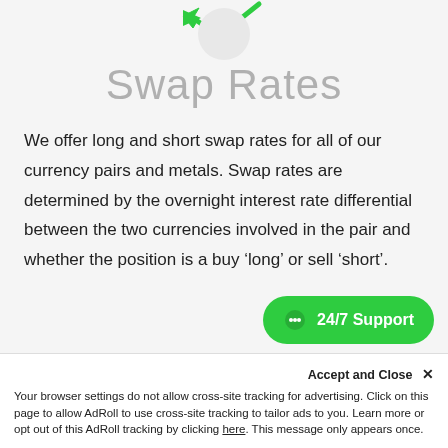[Figure (logo): Green arrow icon pointing left with a light gray circle below it, serving as a logo/icon for swap rates]
Swap Rates
We offer long and short swap rates for all of our currency pairs and metals. Swap rates are determined by the overnight interest rate differential between the two currencies involved in the pair and whether the position is a buy ‘long’ or sell ‘short’.
[Figure (other): Green chat support button with speech bubble icon and text '24/7 Support']
Accept and Close ×
Your browser settings do not allow cross-site tracking for advertising. Click on this page to allow AdRoll to use cross-site tracking to tailor ads to you. Learn more or opt out of this AdRoll tracking by clicking here. This message only appears once.